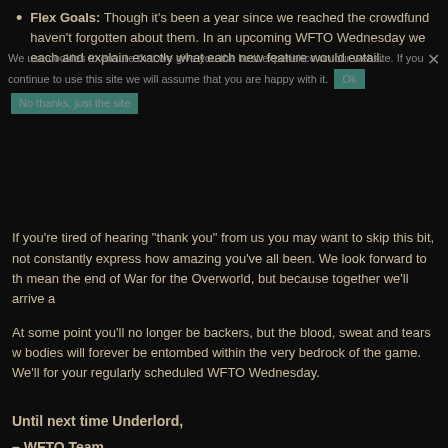Flex Goals: Though it's been a year since we reached the crowdfund haven't forgotten about them. In an upcoming WFTO Wednesday we each and explain exactly what each new feature would entail.
We use cookies to ensure that we give you the best experience on our website. If you continue to use this site we will assume that you are happy with it.
If you're tired of hearing "thank you" from us you may want to skip this bit, not constantly express how amazing you've all been. We look forward to th mean the end of War for the Overworld, but because together we'll arrive a
At some point you'll no longer be backers, but the blood, sweat and tears w bodies will forever be entombed within the very bedrock of the game. We'll for your regularly scheduled WFTO Wednesday.
Until next time Underlord,
– WFTO Team
Click here to discuss this update on our forums!